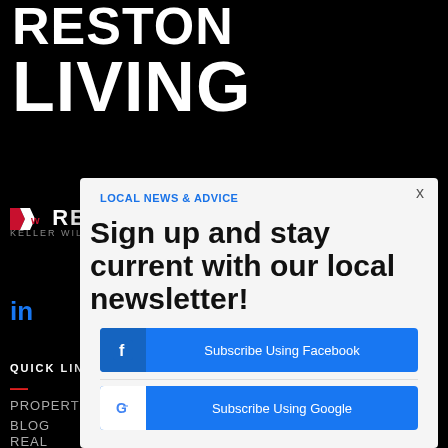RESTON LIVING
[Figure (logo): KW Reston Keller Williams logo]
LOCAL NEWS & ADVICE
Sign up and stay current with our local newsletter!
Subscribe Using Facebook
Subscribe Using Google